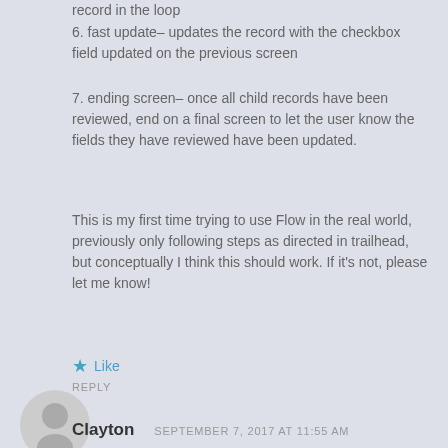record in the loop
6. fast update– updates the record with the checkbox field updated on the previous screen
7. ending screen– once all child records have been reviewed, end on a final screen to let the user know the fields they have reviewed have been updated.
This is my first time trying to use Flow in the real world, previously only following steps as directed in trailhead, but conceptually I think this should work. If it's not, please let me know!
★ Like
REPLY
[Figure (illustration): Generic user avatar icon — grey circle with person silhouette]
Clayton   SEPTEMBER 7, 2017 AT 11:55 AM